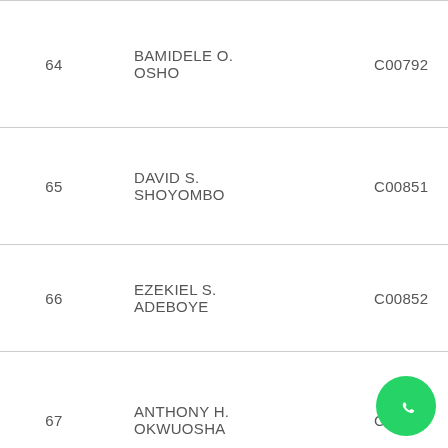| # | Name | Code |
| --- | --- | --- |
| 64 | BAMIDELE O. OSHO | C00792 |
| 65 | DAVID S. SHOYOMBO | C00851 |
| 66 | EZEKIEL S. ADEBOYE | C00852 |
| 67 | ANTHONY H. OKWUOSHA | C00853 |